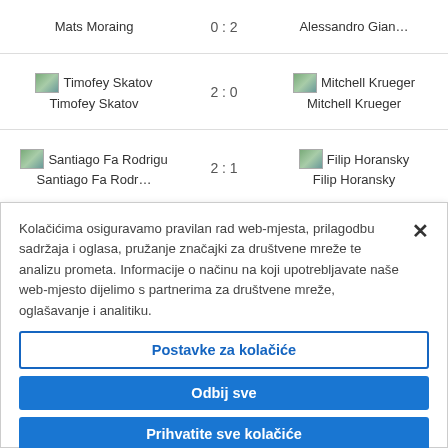| Player 1 | Score | Player 2 |
| --- | --- | --- |
| Mats Moraing | 0 : 2 | Alessandro Gian… |
| Timofey Skatov | 2 : 0 | Mitchell Krueger |
| Santiago Fa Rodr… | 2 : 1 | Filip Horansky |
Kolačićima osiguravamo pravilan rad web-mjesta, prilagodbu sadržaja i oglasa, pružanje značajki za društvene mreže te analizu prometa. Informacije o načinu na koji upotrebljavate naše web-mjesto dijelimo s partnerima za društvene mreže, oglašavanje i analitiku.
Postavke za kolačiće
Odbij sve
Prihvatite sve kolačiće